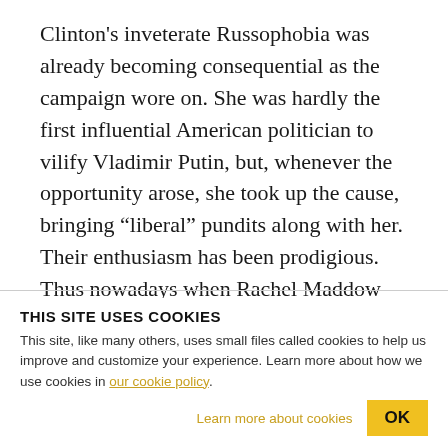Clinton's inveterate Russophobia was already becoming consequential as the campaign wore on. She was hardly the first influential American politician to vilify Vladimir Putin, but, whenever the opportunity arose, she took up the cause, bringing “liberal” pundits along with her. Their enthusiasm has been prodigious. Thus nowadays when Rachel Maddow takes her usual twenty minutes to make a twenty second point, the evils of Russia and its President are almost always her target.
THIS SITE USES COOKIES
This site, like many others, uses small files called cookies to help us improve and customize your experience. Learn more about how we use cookies in our cookie policy.
Learn more about cookies    OK